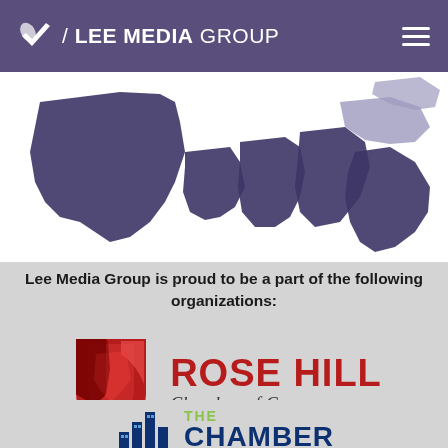LEE MEDIA GROUP
[Figure (map): Partial map of southeastern United States in dark purple/navy silhouette on white background, showing states like Texas, Louisiana, Mississippi, Alabama, Georgia, Florida, and surrounding areas.]
Lee Media Group is proud to be a part of the following organizations:
[Figure (logo): Rose Hill Chamber of Commerce logo — red shield icon on left, bold red text 'ROSE HILL' and italic dark text 'Chamber of Commerce' on right.]
[Figure (logo): THE CHAMBER logo — dark blue stylized building/skyscraper icon on left, with 'THE' in lime green and 'CHAMBER' in navy blue bold text on right. Partially visible at bottom of page.]